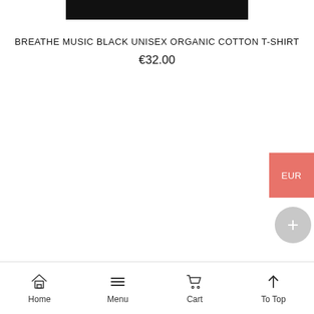[Figure (photo): Top portion of a black t-shirt product image, cropped at the top of the page]
BREATHE MUSIC BLACK UNISEX ORGANIC COTTON T-SHIRT
€32.00
Home   Menu   Cart   To Top